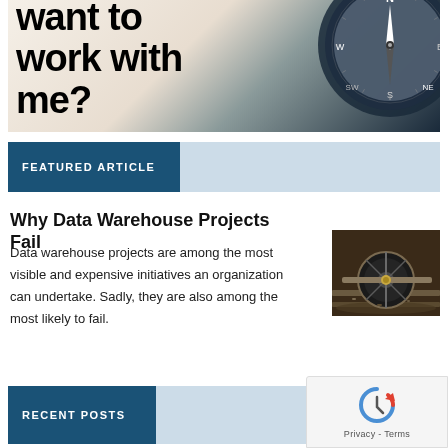[Figure (photo): Sign reading 'Want to work with me?' overlaid with a compass image]
FEATURED ARTICLE
Why Data Warehouse Projects Fail
Data warehouse projects are among the most visible and expensive initiatives an organization can undertake. Sadly, they are also among the most likely to fail.
[Figure (photo): Derailed train wheel and axle on tracks]
RECENT POSTS